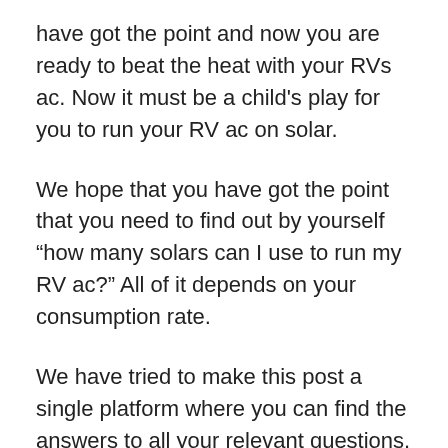have got the point and now you are ready to beat the heat with your RVs ac. Now it must be a child's play for you to run your RV ac on solar.
We hope that you have got the point that you need to find out by yourself “how many solars can I use to run my RV ac?” All of it depends on your consumption rate.
We have tried to make this post a single platform where you can find the answers to all your relevant questions. Setting up a solar system will set you free from the cost of battery recharging. Moreover, it is a renewable source of energy.